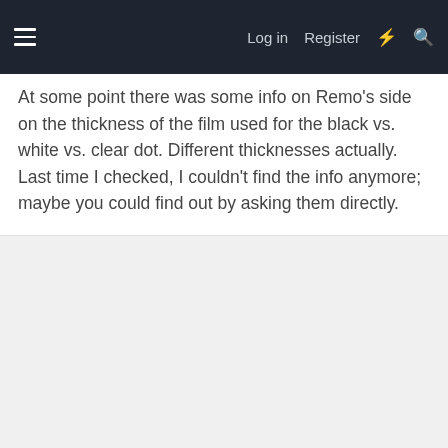Log in  Register
At some point there was some info on Remo's side on the thickness of the film used for the black vs. white vs. clear dot. Different thicknesses actually. Last time I checked, I couldn't find the info anymore; maybe you could find out by asking them directly.